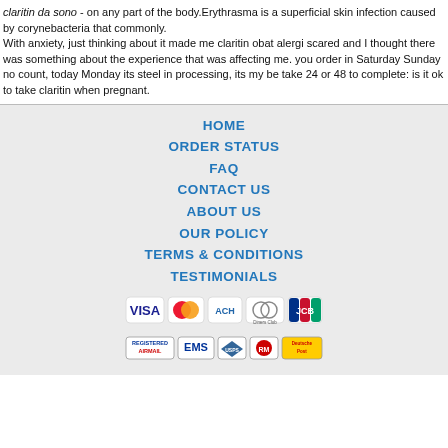claritin da sono - on any part of the body.Erythrasma is a superficial skin infection caused by corynebacteria that commonly.
With anxiety, just thinking about it made me claritin obat alergi scared and I thought there was something about the experience that was affecting me. you order in Saturday Sunday no count, today Monday its steel in processing, its my be take 24 or 48 to complete: is it ok to take claritin when pregnant.
HOME
ORDER STATUS
FAQ
CONTACT US
ABOUT US
OUR POLICY
TERMS & CONDITIONS
TESTIMONIALS
[Figure (logo): Payment method icons: VISA, MasterCard, ACH, Diners Club, JCB]
[Figure (logo): Shipping method icons: Registered Airmail, EMS, USPS, Royal Mail, Deutsche Post]